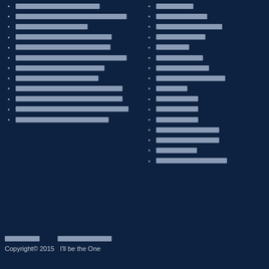[redacted]
[redacted]
[redacted]
[redacted]
[redacted]
[redacted]
[redacted]
[redacted]
[redacted]
[redacted]
[redacted]
[redacted]
[redacted]
[redacted]
[redacted]
[redacted]
[redacted]
[redacted]
[redacted]
[redacted]
[redacted]
[redacted]
[redacted]
[redacted]
[redacted]
[redacted]
[redacted]
[redacted]
[redacted link]   [redacted link]   Copyright© 2015   I'll be the One